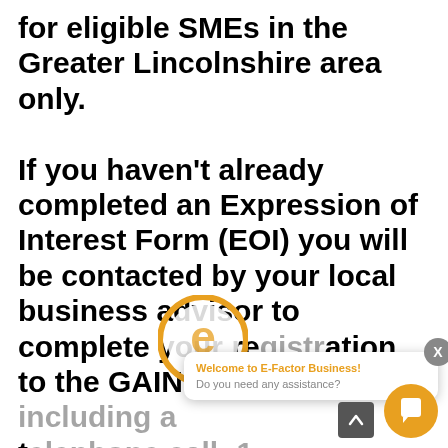for eligible SMEs in the Greater Lincolnshire area only.

If you haven't already completed an Expression of Interest Form (EOI) you will be contacted by your local business advisor to complete your registration to the GAIN programme, including a telephone call: 1 meeting with you at your convenience. A member
[Figure (logo): E-Factor Business circular logo with orange ring and stylized 'e' letter]
[Figure (screenshot): E-Factor Business chat widget overlay with close button, title 'Welcome to E-Factor Business!', subtitle 'Do you need any assistance?', and orange chat bubble button]